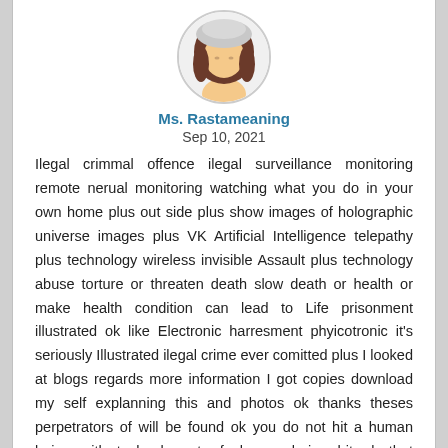[Figure (illustration): Circular avatar image of a woman with brown hair wearing a light grey hat, illustrated/cartoon style profile picture]
Ms. Rastameaning
Sep 10, 2021
Illegal crimmal offence ilegal surveillance monitoring remote nerual monitoring watching what you do in your own home plus out side plus show images of holographic universe images plus VK Artificial Intelligence telepathy plus technology wireless invisible Assault plus technology abuse torture or threaten death slow death or health or make health condition can lead to Life prisonment illustrated ok like Electronic harresment phyicotronic it's seriously Illustrated ilegal crime ever comitted plus I looked at blogs regards more information I got copies download my self explanning this and photos ok thanks theses perpetrators of will be found ok you do not hit a human being with technology to feel your being hit ok that seriously Illustrated ilegal crime ok you do not threaten me any